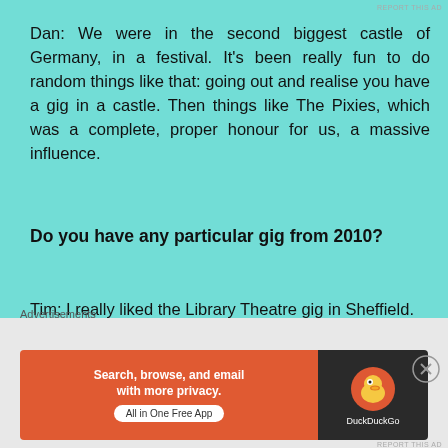Dan: We were in the second biggest castle of Germany, in a festival. It's been really fun to do random things like that: going out and realise you have a gig in a castle. Then things like The Pixies, which was a complete, proper honour for us, a massive influence.
Do you have any particular gig from 2010?
Tim: I really liked the Library Theatre gig in Sheffield. That was really cool!
Dan: Yeah, that one was a keeper.
What's the deal with the new album?
[Figure (other): DuckDuckGo advertisement banner: orange section with text 'Search, browse, and email with more privacy. All in One Free App' and dark section with DuckDuckGo duck logo]